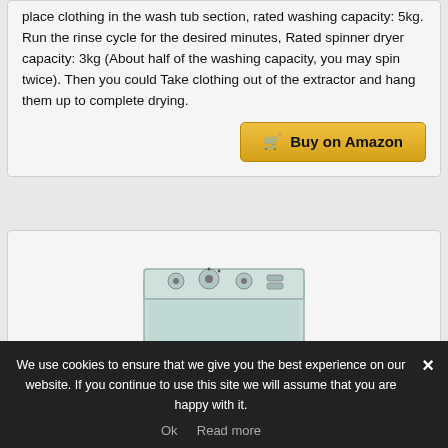place clothing in the wash tub section, rated washing capacity: 5kg. Run the rinse cycle for the desired minutes, Rated spinner dryer capacity: 3kg (About half of the washing capacity, you may spin twice). Then you could Take clothing out of the extractor and hang them up to complete drying.
[Figure (other): Buy on Amazon button with shopping cart icon, golden/yellow background]
[Figure (photo): Top view of a white/light blue top-load washing machine with control panel showing dials and buttons]
We use cookies to ensure that we give you the best experience on our website. If you continue to use this site we will assume that you are happy with it.
Ok   Read more